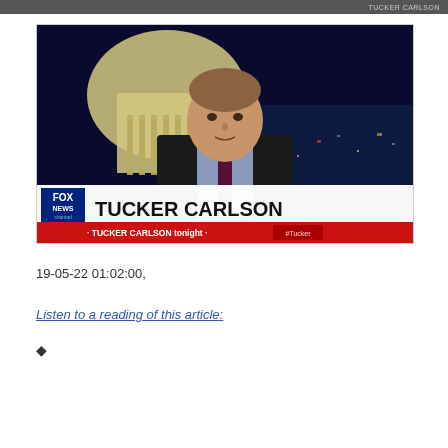TUCKER CARLSON
[Figure (screenshot): Fox News TV screenshot showing Tucker Carlson on set with US Capitol building in background. Lower third chyron reads 'TUCKER CARLSON' with Fox News logo and ticker 'TUCKER CARLSON tonight #Tucker']
19-05-22 01:02:00,
Listen to a reading of this article:
◆